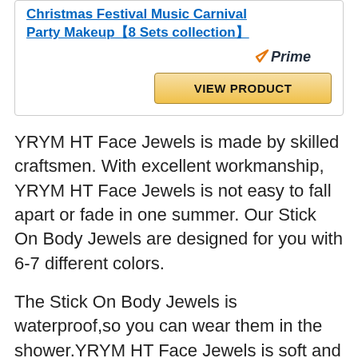Christmas Festival Music Carnival Party Makeup【8 Sets collection】
[Figure (other): Amazon Prime badge with checkmark]
VIEW PRODUCT
YRYM HT Face Jewels is made by skilled craftsmen. With excellent workmanship, YRYM HT Face Jewels is not easy to fall apart or fade in one summer. Our Stick On Body Jewels are designed for you with 6-7 different colors.
The Stick On Body Jewels is waterproof,so you can wear them in the shower.YRYM HT Face Jewels is soft and smooth like real skin, light weight like feather without feeling bulky or tacky. It brings women special feelings